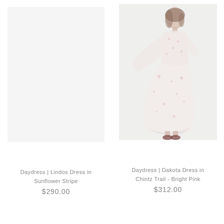[Figure (photo): Empty white/light grey placeholder — no visible product image for left item (Lindos Dress in Sunflower Stripe)]
Daydress | Lindos Dress in Sunflower Stripe
$290.00
[Figure (photo): A woman wearing a long floral dress (white/pink pattern with ruffled hem) photographed against a light grey/white background, standing and turning slightly. She wears dark red shoes.]
Daydress | Dakota Dress in Chintz Trail - Bright Pink
$312.00